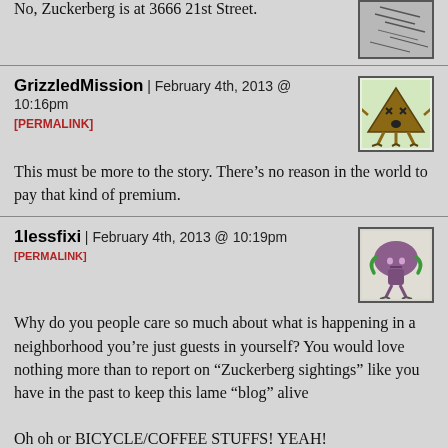No, Zuckerberg is at 3666 21st Street.
[Figure (illustration): Partial avatar image at top right, a hand-drawn sketch]
GrizzledMission | February 4th, 2013 @ 10:16pm
[PERMALINK]
[Figure (illustration): Avatar: hand-drawn cartoon of a triangular brown creature with X eyes on green background]
This must be more to the story. There’s no reason in the world to pay that kind of premium.
1lessfixi | February 4th, 2013 @ 10:19pm [PERMALINK]
[Figure (illustration): Avatar: hand-drawn cartoon of a purple mushroom-like creature with green arms]
Why do you people care so much about what is happening in a neighborhood you’re just guests in yourself? You would love nothing more than to report on “Zuckerberg sightings” like you have in the past to keep this lame “blog” alive
Oh oh or BICYCLE/COFFEE STUFFS! YEAH!